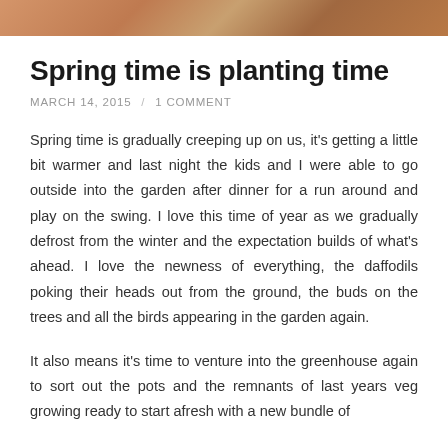[Figure (photo): Partial image strip visible at the top of the page, showing what appears to be a garden or outdoor scene with warm tones]
Spring time is planting time
MARCH 14, 2015  /  1 COMMENT
Spring time is gradually creeping up on us, it's getting a little bit warmer and last night the kids and I were able to go outside into the garden after dinner for a run around and play on the swing. I love this time of year as we gradually defrost from the winter and the expectation builds of what's ahead. I love the newness of everything, the daffodils poking their heads out from the ground, the buds on the trees and all the birds appearing in the garden again.
It also means it's time to venture into the greenhouse again to sort out the pots and the remnants of last years veg growing ready to start afresh with a new bundle of